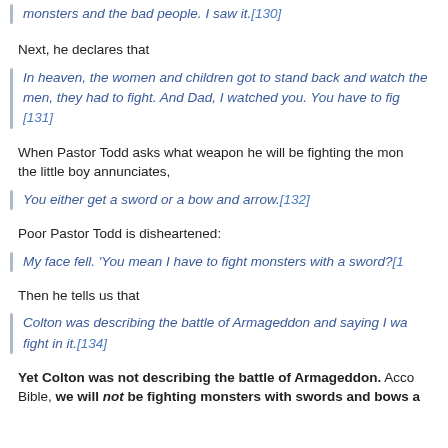monsters and the bad people.  I saw it.[130]
Next, he declares that
In heaven, the women and children got to stand back and watch the men, they had to fight.  And Dad, I watched you.  You have to fight [131]
When Pastor Todd asks what weapon he will be fighting the monsters with, the little boy annunciates,
You either get a sword or a bow and arrow.[132]
Poor Pastor Todd is disheartened:
My face fell.  'You mean I have to fight monsters with a sword?[1…]
Then he tells us that
Colton was describing the battle of Armageddon and saying I wa… fight in it.[134]
Yet Colton was not describing the battle of Armageddon.  According to the Bible, we will not be fighting monsters with swords and bows a…